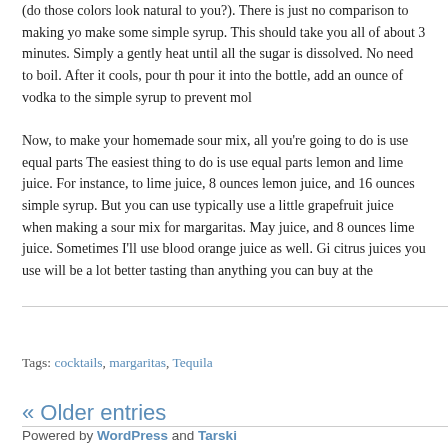(do those colors look natural to you?). There is just no comparison to making yo make some simple syrup. This should take you all of about 3 minutes. Simply a gently heat until all the sugar is dissolved. No need to boil. After it cools, pour th pour it into the bottle, add an ounce of vodka to the simple syrup to prevent mol
Now, to make your homemade sour mix, all you’re going to do is use equal parts The easiest thing to do is use equal parts lemon and lime juice. For instance, to lime juice, 8 ounces lemon juice, and 16 ounces simple syrup. But you can use typically use a little grapefruit juice when making a sour mix for margaritas. May juice, and 8 ounces lime juice. Sometimes I’ll use blood orange juice as well. Gi citrus juices you use will be a lot better tasting than anything you can buy at the
Tags: cocktails, margaritas, Tequila
« Older entries
Powered by WordPress and Tarski